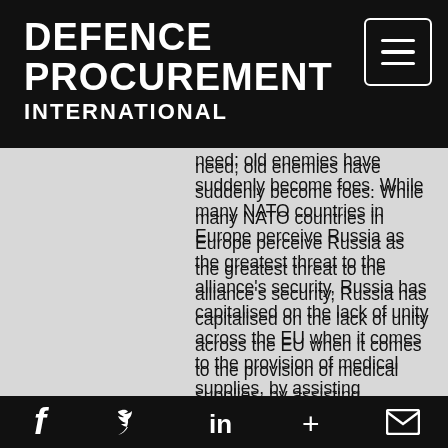DEFENCE PROCUREMENT INTERNATIONAL
need; old enemies have suddenly become foes. While many NATO countries in Europe perceive Russia as the greatest threat to the alliance's security, Russia has capitalised on the lack of unity across the EU when it comes to the provision of medical supplies, by assisting countries like Italy, one of the worst-hit countries with more than 13,000 deaths so far from COVID-19.
The Russian Ministry of Defence sent nine transport aeroplanes filled with medical equipment and specialists to Rome in late March. Russian epidemiologists and specialists from the Russian Defence Ministry NBC protection troops, together with Italian military specialists, have also
Social share icons: Facebook, Twitter, LinkedIn, Plus, Email